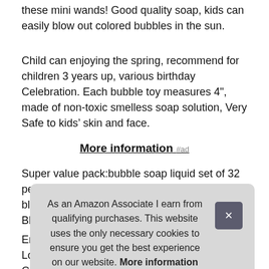these mini wands! Good quality soap, kids can easily blow out colored bubbles in the sun.
Child can enjoying the spring, recommend for children 3 years up, various birthday Celebration. Each bubble toy measures 4", made of non-toxic smelless soap solution, Very Safe to kids’ skin and face.
More information #ad
Super value pack:bubble soap liquid set of 32 pec 8 colors Red, Orange, Pink, Yellow, lake blue, Green, Purplewith cute theme design, Blue, as party supplies reunion fun for kids.
End
Lon
Car
goo
bridal shower, Gathering, Graduation, yard BBQ or indoor
As an Amazon Associate I earn from qualifying purchases. This website uses the only necessary cookies to ensure you get the best experience on our website. More information